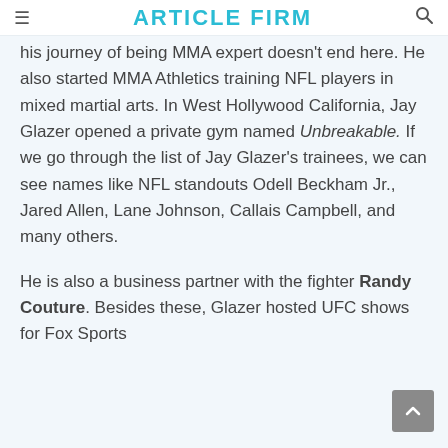ARTICLE FIRM
his journey of being MMA expert doesn't end here. He also started MMA Athletics training NFL players in mixed martial arts. In West Hollywood California, Jay Glazer opened a private gym named Unbreakable. If we go through the list of Jay Glazer's trainees, we can see names like NFL standouts Odell Beckham Jr., Jared Allen, Lane Johnson, Callais Campbell, and many others.
He is also a business partner with the fighter Randy Couture. Besides these, Glazer hosted UFC shows for Fox Sports